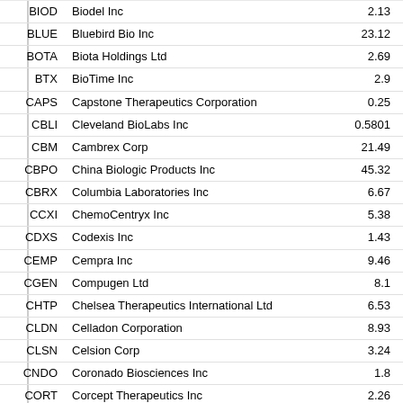| Ticker | Company Name | Price |
| --- | --- | --- |
| BIOD | Biodel Inc | 2.13 |
| BLUE | Bluebird Bio Inc | 23.12 |
| BOTA | Biota Holdings Ltd | 2.69 |
| BTX | BioTime Inc | 2.9 |
| CAPS | Capstone Therapeutics Corporation | 0.25 |
| CBLI | Cleveland BioLabs Inc | 0.5801 |
| CBM | Cambrex Corp | 21.49 |
| CBPO | China Biologic Products Inc | 45.32 |
| CBRX | Columbia Laboratories Inc | 6.67 |
| CCXI | ChemoCentryx Inc | 5.38 |
| CDXS | Codexis Inc | 1.43 |
| CEMP | Cempra Inc | 9.46 |
| CGEN | Compugen Ltd | 8.1 |
| CHTP | Chelsea Therapeutics International Ltd | 6.53 |
| CLDN | Celladon Corporation | 8.93 |
| CLSN | Celsion Corp | 3.24 |
| CNDO | Coronado Biosciences Inc | 1.8 |
| CORT | Corcept Therapeutics Inc | 2.26 |
| CPIX | Cumberland Pharmaceutical Inc | 4.55 |